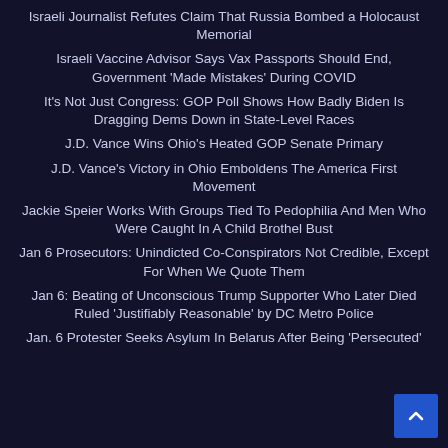Israeli Journalist Refutes Claim That Russia Bombed a Holocaust Memorial
Israeli Vaccine Advisor Says Vax Passports Should End, Government 'Made Mistakes' During COVID
It's Not Just Congress: GOP Poll Shows How Badly Biden Is Dragging Dems Down in State-Level Races
J.D. Vance Wins Ohio's Heated GOP Senate Primary
J.D. Vance's Victory in Ohio Emboldens The America First Movement
Jackie Speier Works With Groups Tied To Pedophilia And Men Who Were Caught In A Child Brothel Bust
Jan 6 Prosecutors: Unindicted Co-Conspirators Not Credible, Except For When We Quote Them
Jan 6: Beating of Unconscious Trump Supporter Who Later Died Ruled 'Justifiably Reasonable' by DC Metro Police
Jan. 6 Protester Seeks Asylum In Belarus After Being 'Persecuted'